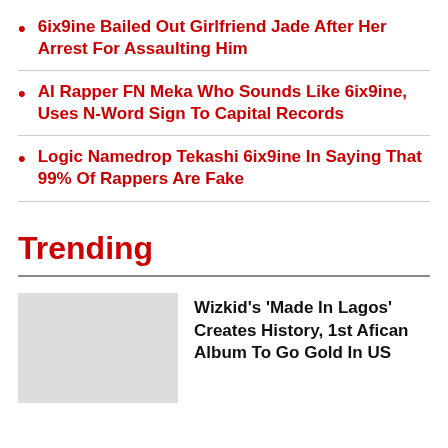6ix9ine Bailed Out Girlfriend Jade After Her Arrest For Assaulting Him
AI Rapper FN Meka Who Sounds Like 6ix9ine, Uses N-Word Sign To Capital Records
Logic Namedrop Tekashi 6ix9ine In Saying That 99% Of Rappers Are Fake
Trending
Wizkid's 'Made In Lagos' Creates History, 1st Afican Album To Go Gold In US